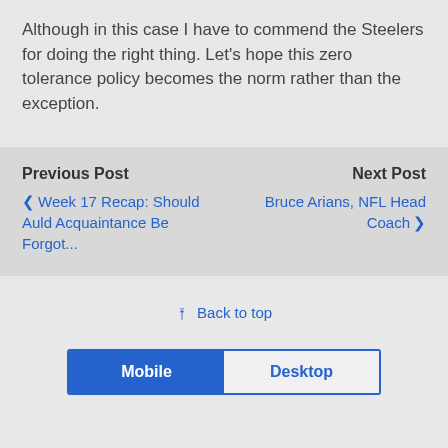Although in this case I have to commend the Steelers for doing the right thing. Let’s hope this zero tolerance policy becomes the norm rather than the exception.
Previous Post
❮ Week 17 Recap: Should Auld Acquaintance Be Forgot...
Next Post
Bruce Arians, NFL Head Coach ❯
⭱ Back to top
Mobile | Desktop